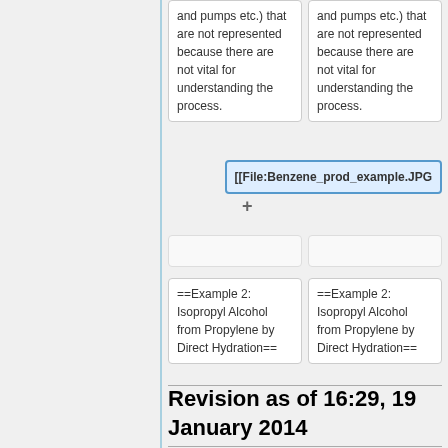and pumps etc.) that are not represented because there are not vital for understanding the process.
and pumps etc.) that are not represented because there are not vital for understanding the process.
[[File:Benzene_prod_example.JPG
==Example 2: Isopropyl Alcohol from Propylene by Direct Hydration==
==Example 2: Isopropyl Alcohol from Propylene by Direct Hydration==
Revision as of 16:29, 19 January 2014
Title: Block flow diagram
Authors: Nick Pinkerton, Karen Schmidt, and James Xamplas